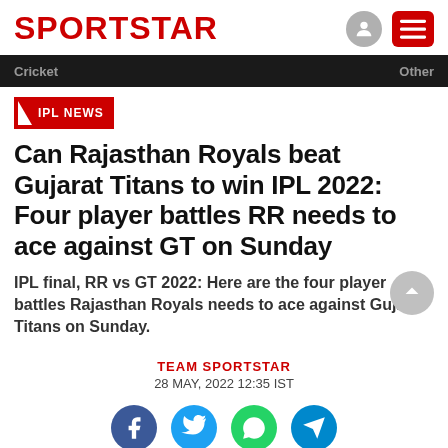SPORTSTAR
IPL NEWS
Can Rajasthan Royals beat Gujarat Titans to win IPL 2022: Four player battles RR needs to ace against GT on Sunday
IPL final, RR vs GT 2022: Here are the four player battles Rajasthan Royals needs to ace against Gujarat Titans on Sunday.
TEAM SPORTSTAR
28 MAY, 2022 12:35 IST